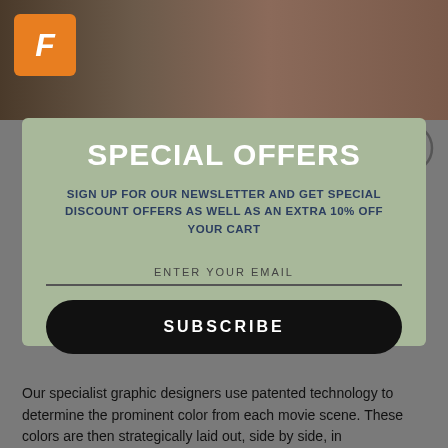[Figure (screenshot): Top portion of a movie/entertainment product page showing a partially visible movie scene image with a Fandango-style logo (orange box with F) in the upper left corner]
Product Information
[Figure (screenshot): Newsletter signup modal overlay with sage/olive green background containing 'SPECIAL OFFERS' heading, subtext about newsletter discount, email input field, and black Subscribe button]
SPECIAL OFFERS
SIGN UP FOR OUR NEWSLETTER AND GET SPECIAL DISCOUNT OFFERS AS WELL AS AN EXTRA 10% OFF YOUR CART
ENTER YOUR EMAIL
SUBSCRIBE
Our specialist graphic designers use patented technology to determine the prominent color from each movie scene. These colors are then strategically laid out, side by side, in